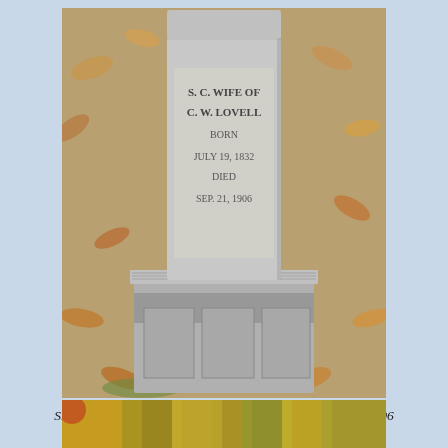[Figure (photo): Photograph of a gravestone in a cemetery. The stone reads: S.C. WIFE OF C.W. LOVELL BORN JULY 19, 1832 DIED SEP. 21, 1906. The stone sits on a rectangular stone base with ribbed decorative edges. Dead leaves cover the ground around it.]
S. C., wife of C. W. Lovell, July 19, 1832 – September 21, 1906
[Figure (photo): Partial photograph showing colorful autumn foliage in yellows, oranges, and greens.]